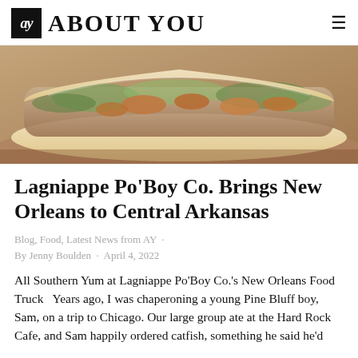ay ABOUT YOU
[Figure (photo): Close-up photo of a po'boy sandwich with fried shrimp, lettuce, and condiments on a white roll, on a brown paper background.]
Lagniappe Po'Boy Co. Brings New Orleans to Central Arkansas
Blog, Food, Latest News from AY · By Jenny Boulden · April 4, 2022
All Southern Yum at Lagniappe Po'Boy Co.'s New Orleans Food Truck   Years ago, I was chaperoning a young Pine Bluff boy, Sam, on a trip to Chicago. Our large group ate at the Hard Rock Cafe, and Sam happily ordered catfish, something he said he'd